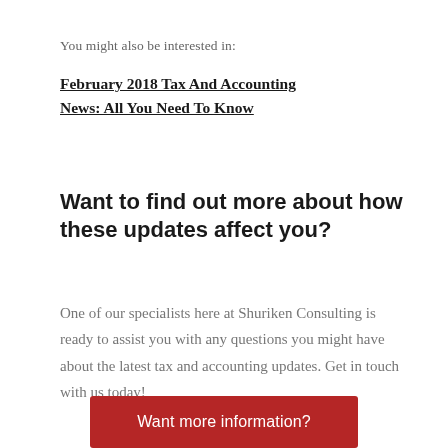You might also be interested in:
February 2018 Tax And Accounting News: All You Need To Know
Want to find out more about how these updates affect you?
One of our specialists here at Shuriken Consulting is ready to assist you with any questions you might have about the latest tax and accounting updates. Get in touch with us today!
Want more information?